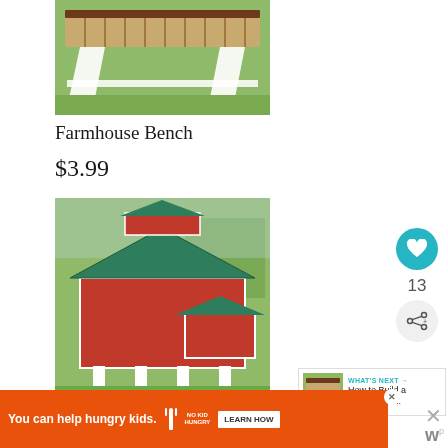[Figure (photo): Photo of a wooden farmhouse bench with slatted top and white A-frame legs, sitting on green grass]
Farmhouse Bench
$3.99
[Figure (photo): Photo of a red and white chicken coop with green metal roof, raised on white legs, sitting on green grass]
Chicken Coop
[Figure (infographic): What's Next panel showing thumbnail of farmhouse bench with text 'WHAT'S NEXT → How to Build a Farmhouse...']
13
[Figure (infographic): Advertisement banner: You can help hungry kids. NO KID HUNGRY logo. LEARN HOW button.]
You can help hungry kids.  NO KID HUNGRY  LEARN HOW